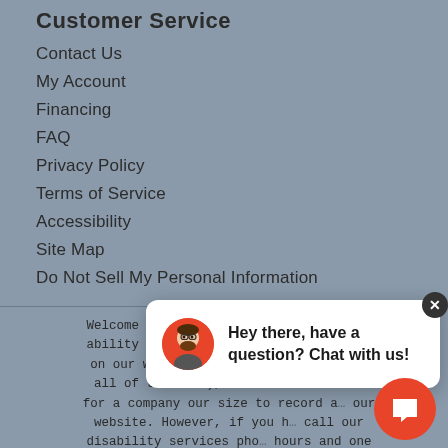Customer Service
Contact Us
My Account
Financing
FAQ
Privacy Policy
Terms of Service
Accessibility
Site Map
Do Not Sell My Personal Information
Welcome to our website! As we have the ability to list over one million items on our website (our selection changes all of the time), it is not feasible for a company our size to record and playback the descriptions on every item on our website. However, if you have a disability we are here to help you. Please call our disability services phone line during regular business hours and one of our kind and friendly personal shoppers will help you navigate through our website, help conduct advanced searches, help you choose the item you are looking for with the specifications you are seeking, read you the specifications of any item and consult with you about the products themselves. There is no charge for the help of this personal shopper for anyone with a disability. Finally, your personal shopper will explain our Privacy Policy and Terms of Service, and help you place an order if you so desire.
[Figure (illustration): Chat popup with avatar and message 'Hey there, have a question? Chat with us!' and a red chat button in the bottom right corner.]